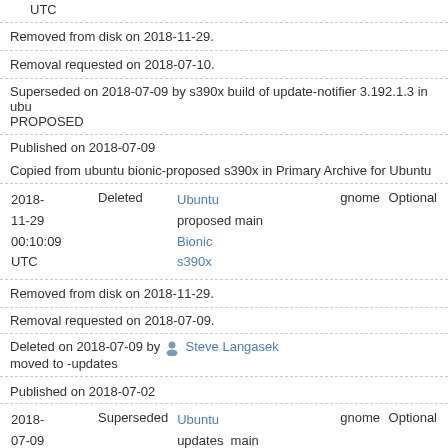UTC
Removed from disk on 2018-11-29.
Removal requested on 2018-07-10.
Superseded on 2018-07-09 by s390x build of update-notifier 3.192.1.3 in ubu PROPOSED
Published on 2018-07-09
Copied from ubuntu bionic-proposed s390x in Primary Archive for Ubuntu
| Date | Status | Distribution | Pocket | Component | Section | Priority |
| --- | --- | --- | --- | --- | --- | --- |
| 2018-11-29 00:10:09 UTC | Deleted | Ubuntu Bionic s390x | proposed | main | gnome | Optional |
Removed from disk on 2018-11-29.
Removal requested on 2018-07-09.
Deleted on 2018-07-09 by Steve Langasek moved to -updates
Published on 2018-07-02
| Date | Status | Distribution | Pocket | Component | Section | Priority |
| --- | --- | --- | --- | --- | --- | --- |
| 2018-07-09 08:28:17 UTC | Superseded | Ubuntu Bionic s390x | updates | main | gnome | Optional |
Removed from disk on 2018-07-10.